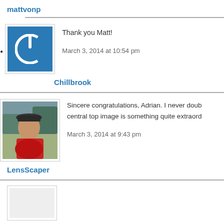mattvonp
Thank you Matt!
March 3, 2014 at 10:54 pm
Chillbrook
Sincere congratulations, Adrian. I never doub... central top image is something quite extraord...
March 3, 2014 at 9:43 pm
LensScaper